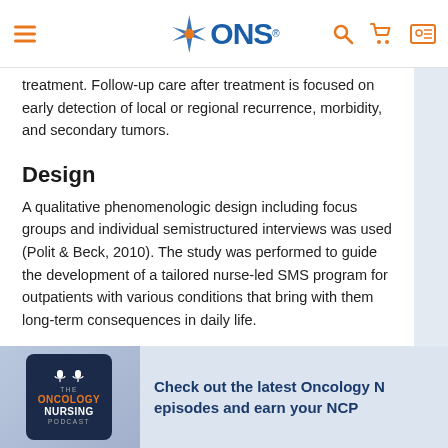ONS website header with logo, hamburger menu, search, cart, and user icons
treatment. Follow-up care after treatment is focused on early detection of local or regional recurrence, morbidity, and secondary tumors.
Design
A qualitative phenomenologic design including focus groups and individual semistructured interviews was used (Polit & Beck, 2010). The study was performed to guide the development of a tailored nurse-led SMS program for outpatients with various conditions that bring with them long-term consequences in daily life.
Participants
[Figure (infographic): Bottom banner showing The Oncology Nursing Podcast image on a phone and text 'Check out the latest Oncology N... episodes and earn your NCP...']